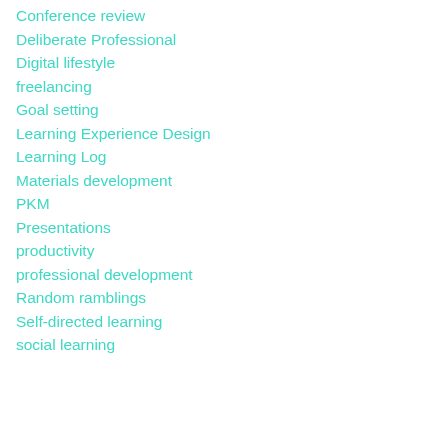Conference review
Deliberate Professional
Digital lifestyle
freelancing
Goal setting
Learning Experience Design
Learning Log
Materials development
PKM
Presentations
productivity
professional development
Random ramblings
Self-directed learning
social learning